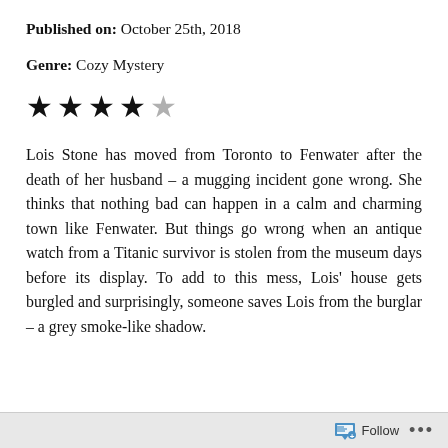Published on: October 25th, 2018
Genre: Cozy Mystery
★★★★☆ (4 out of 5 stars)
Lois Stone has moved from Toronto to Fenwater after the death of her husband – a mugging incident gone wrong. She thinks that nothing bad can happen in a calm and charming town like Fenwater. But things go wrong when an antique watch from a Titanic survivor is stolen from the museum days before its display. To add to this mess, Lois' house gets burgled and surprisingly, someone saves Lois from the burglar – a grey smoke-like shadow.
Follow